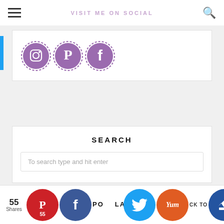VISIT ME ON SOCIAL
[Figure (illustration): Three purple dotted-border circular social media icons: Instagram (camera), Pinterest (P), and Facebook (f)]
SEARCH
To search type and hit enter
55 Shares
POPULAR POSTS
CK TO